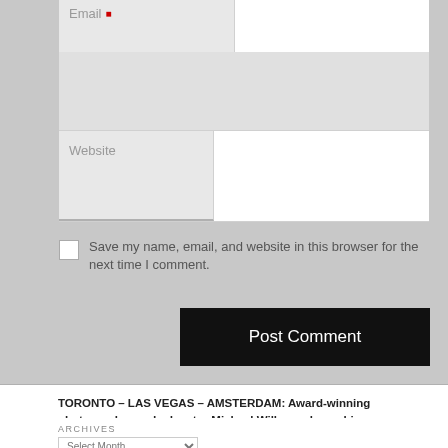[Figure (screenshot): Partial web form showing Email field (top, partially visible), Website input field with label, a checkbox with label 'Save my name, email, and website in this browser for the next time I comment.', and a black 'Post Comment' button]
TORONTO – LAS VEGAS – AMSTERDAM: Award-winning photographer and educator Michael Willems shares his secrets, with DAILY posts. Learn photography here; and by buying his e-books, and by taking his many courses worldwide and online.
ARCHIVES